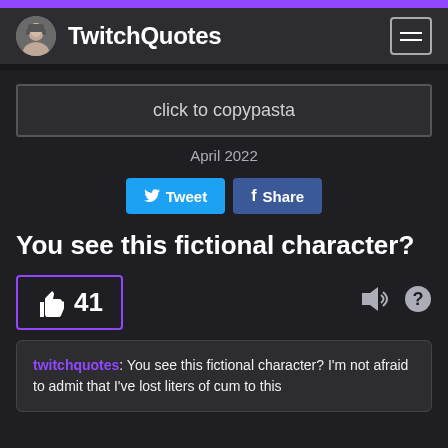TwitchQuotes
click to copypasta
April 2022
You see this fictional character?
41 likes
twitchquotes: You see this fictional character? I'm not afraid to admit that I've lost liters of cum to this